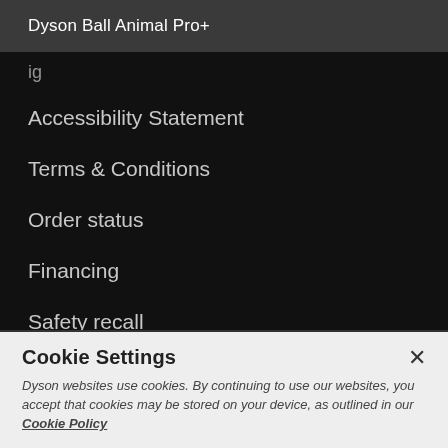Dyson Ball Animal Pro+
Accessibility Statement
Terms & Conditions
Order status
Financing
Safety recall
Returns Policy
Dyson Knowledge
Sustainability
Cookie Settings
Dyson websites use cookies. By continuing to use our websites, you accept that cookies may be stored on your device, as outlined in our Cookie Policy